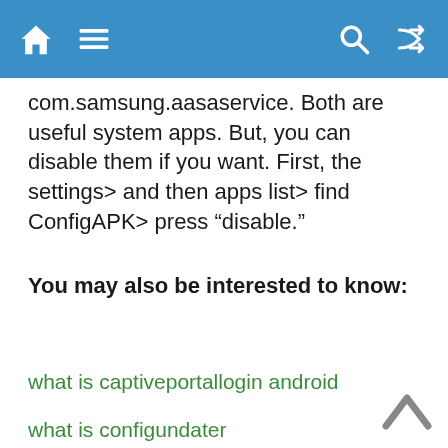Navigation bar with home, menu, search, and shuffle icons
com.samsung.aasaservice. Both are useful system apps. But, you can disable them if you want. First, the settings> and then apps list> find ConfigAPK> press “disable.”
You may also be interested to know:
what is captiveportallogin android
what is configundater